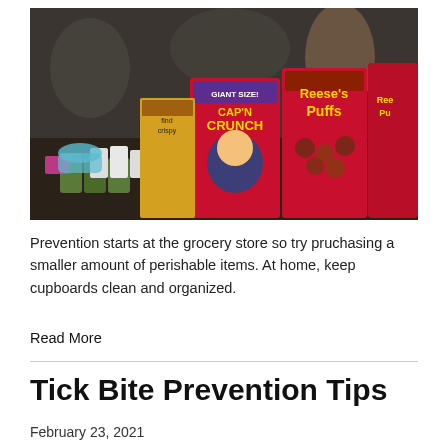[Figure (photo): Photo of cereal boxes (Cap'n Crunch Giant Size and Reese's Puffs) on a table with green cups and other items in a market or outdoor setting.]
Prevention starts at the grocery store so try pruchasing a smaller amount of perishable items. At home, keep cupboards clean and organized.
Read More
Tick Bite Prevention Tips
February 23, 2021